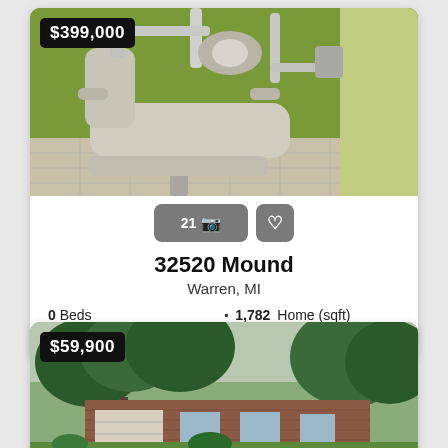[Figure (photo): Interior photo of dental chair with green walls, price badge $399,000 in top-left corner]
21 [camera icon] [heart icon]
32520 Mound
Warren, MI
0 Beds
1,782 Home (sqft)
0 Baths
11,762 Lot (sqft)
[Figure (photo): Exterior photo of a brick ranch house with large trees and lawn, price badge $59,900 in top-left corner]